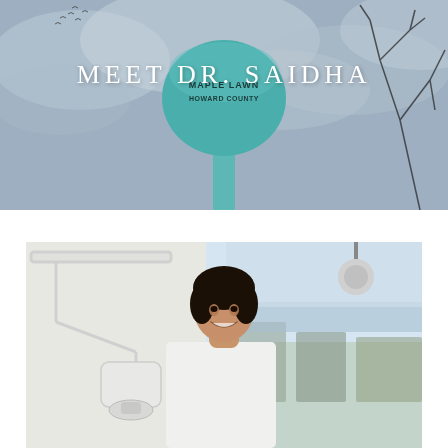[Figure (photo): Overhead outdoor photo of a teal/blue water tower labeled 'Maple Lawn Howard County' against a grey cloudy sky with bare tree branches visible on the right and birds flying in the upper left.]
MEET DR. SAIDHA
[Figure (photo): Photo of a female doctor (Dr. Saidha) smiling in a dental/medical office, standing next to a large white dental microscope (Zeiss brand) with a bright window showing an outdoor cityscape in the background.]